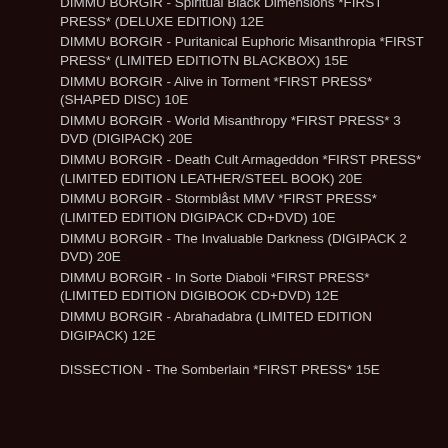DIMMU BORGIR - Spiritual Black Dimensions *FIRST PRESS* (DELUXE EDITION) 12E
DIMMU BORGIR - Puritanical Euphoric Misanthropia *FIRST PRESS* (LIMITED EDITIOTN BLACKBOX) 15E
DIMMU BORGIR - Alive in Torment *FIRST PRESS* (SHAPED DISC) 10E
DIMMU BORGIR - World Misanthropy *FIRST PRESS* 3 DVD (DIGIPACK) 20E
DIMMU BORGIR - Death Cult Armageddon *FIRST PRESS* (LIMITED EDITION LEATHER/STEEL BOOK) 20E
DIMMU BORGIR - Stormblåst MMV *FIRST PRESS* (LIMITED EDITION DIGIPACK CD+DVD) 10E
DIMMU BORGIR - The Invaluable Darkness (DIGIPACK 2 DVD) 20E
DIMMU BORGIR - In Sorte Diaboli *FIRST PRESS* (LIMITED EDITION DIGIBOOK CD+DVD) 12E
DIMMU BORGIR - Abrahadabra (LIMITED EDITION DIGIPACK) 12E
DISSECTION - The Somberlain *FIRST PRESS* 15E